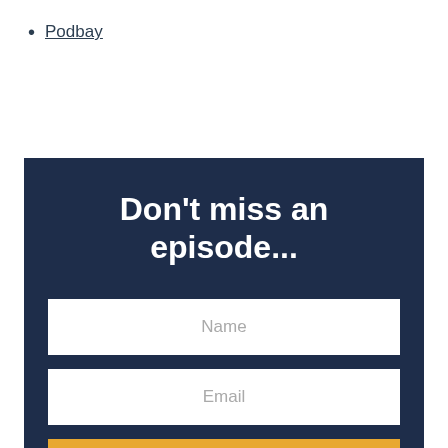Podbay
[Figure (other): Email subscription form with dark navy background. Contains bold white heading 'Don't miss an episode...', a Name input field, an Email input field, and a gold/amber SUBSCRIBE button.]